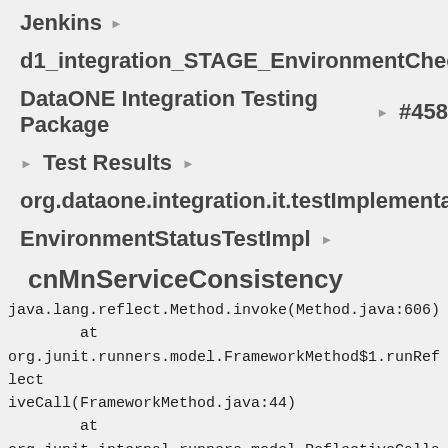Jenkins ▶
d1_integration_STAGE_EnvironmentCheck ▶
DataONE Integration Testing Package ▶ #458
▶ Test Results ▶
org.dataone.integration.it.testImplementations ▶
EnvironmentStatusTestImpl ▶
cnMnServiceConsistency
java.lang.reflect.Method.invoke(Method.java:606)
        at
org.junit.runners.model.FrameworkMethod$1.runReflectiveCall(FrameworkMethod.java:44)
        at
org.junit.internal.runners.model.ReflectiveCallable.run(ReflectiveCallable.java:15)
        at
org.junit.runners.model.FrameworkMethod.invokeExplos